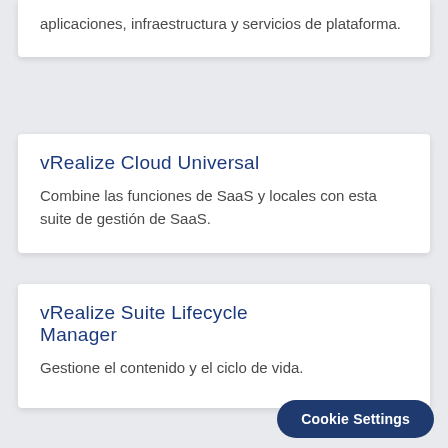aplicaciones, infraestructura y servicios de plataforma.
vRealize Cloud Universal
Combine las funciones de SaaS y locales con esta suite de gestión de SaaS.
vRealize Suite Lifecycle Manager
Gestione el contenido y el ciclo de vida.
Cookie Settings